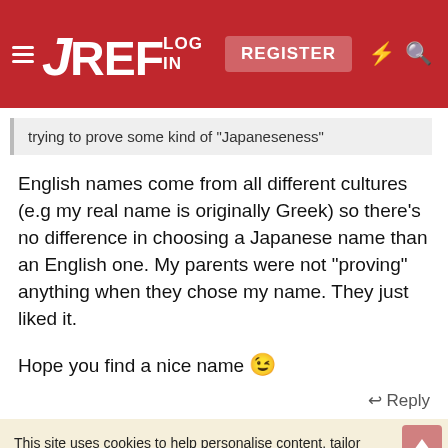JREF — LOG IN | REGISTER
trying to prove some kind of "Japaneseness"
English names come from all different cultures (e.g my real name is originally Greek) so there's no difference in choosing a Japanese name than an English one. My parents were not "proving" anything when they chose my name. They just liked it.

Hope you find a nice name 😉
↩ Reply
This site uses cookies to help personalise content, tailor your experience and to keep you logged in if you register.
By continuing to use this site, you are consenting to our use of cookies.